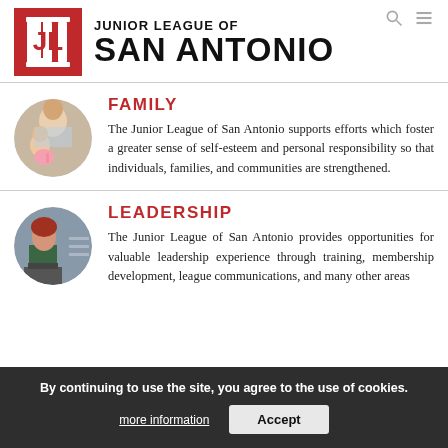JUNIOR LEAGUE OF SAN ANTONIO
FAMILY
The Junior League of San Antonio supports efforts which foster a greater sense of self-esteem and personal responsibility so that individuals, families, and communities are strengthened.
LEADERSHIP
The Junior League of San Antonio provides opportunities for valuable leadership experience through training, membership development, league communications, and many other areas
By continuing to use the site, you agree to the use of cookies. more information Accept